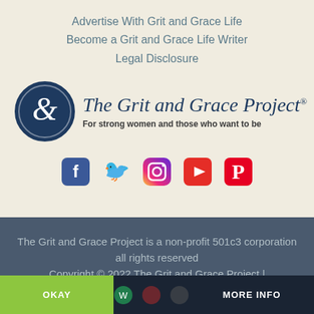Advertise With Grit and Grace Life
Become a Grit and Grace Life Writer
Legal Disclosure
[Figure (logo): The Grit and Grace Project logo with circular ampersand icon and script text. Subtitle: For strong women and those who want to be]
[Figure (infographic): Social media icons: Facebook, Twitter, Instagram, YouTube, Pinterest]
The Grit and Grace Project is a non-profit 501c3 corporation all rights reserved Copyright © 2022 The Grit and Grace Project | Joyfully Developed by Nerdlass.com
This website uses cookies
OKAY
MORE INFO